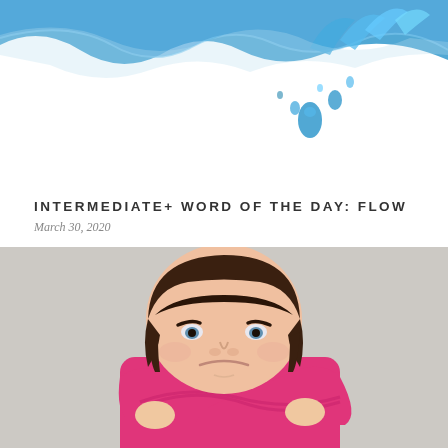[Figure (photo): Water splash with blue water droplets against white background, viewed from above]
INTERMEDIATE+ WORD OF THE DAY: FLOW
March 30, 2020
[Figure (photo): Young girl with dark bowl-cut hair wearing a pink sweatshirt, arms crossed, looking angry or pouty, against a gray background]